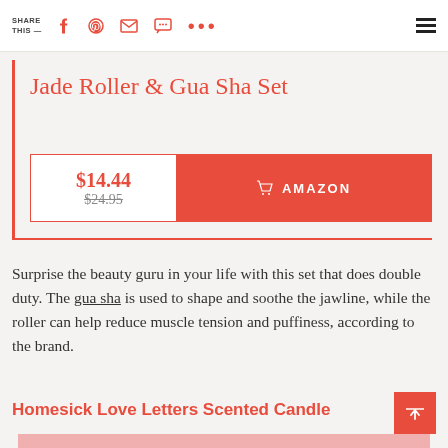SHARE THIS —
Jade Roller & Gua Sha Set
$14.44 $24.95 AMAZON
Surprise the beauty guru in your life with this set that does double duty. The gua sha is used to shape and soothe the jawline, while the roller can help reduce muscle tension and puffiness, according to the brand.
Homesick Love Letters Scented Candle